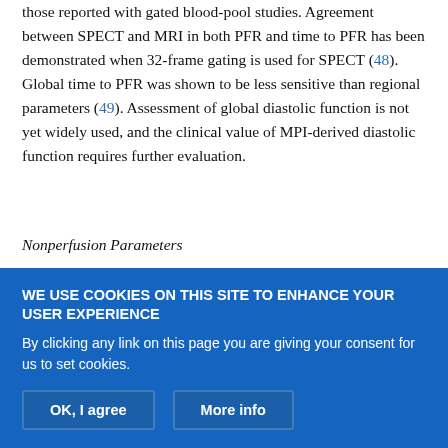those reported with gated blood-pool studies. Agreement between SPECT and MRI in both PFR and time to PFR has been demonstrated when 32-frame gating is used for SPECT (48). Global time to PFR was shown to be less sensitive than regional parameters (49). Assessment of global diastolic function is not yet widely used, and the clinical value of MPI-derived diastolic function requires further evaluation.
Nonperfusion Parameters
In addition to perfusion defects, several nonperfusion characteristics can be observed with SPECT MPI, including mass (50), shape (51), and TID of the LV (52). Since most of the title-derived f...
WE USE COOKIES ON THIS SITE TO ENHANCE YOUR USER EXPERIENCE

By clicking any link on this page you are giving your consent for us to set cookies.